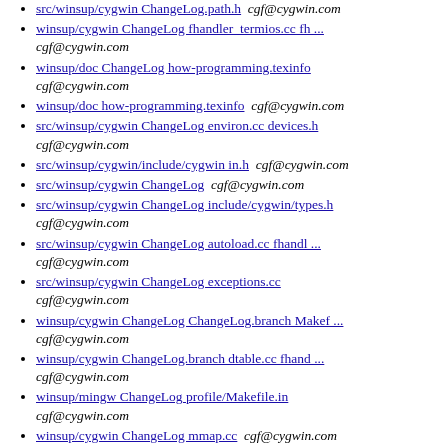src/winsup/cygwin ChangeLog.path.h  cgf@cygwin.com
winsup/cygwin ChangeLog fhandler_termios.cc fh ...  cgf@cygwin.com
winsup/doc ChangeLog how-programming.texinfo  cgf@cygwin.com
winsup/doc how-programming.texinfo  cgf@cygwin.com
src/winsup/cygwin ChangeLog environ.cc devices.h  cgf@cygwin.com
src/winsup/cygwin/include/cygwin in.h  cgf@cygwin.com
src/winsup/cygwin ChangeLog  cgf@cygwin.com
src/winsup/cygwin ChangeLog include/cygwin/types.h  cgf@cygwin.com
src/winsup/cygwin ChangeLog autoload.cc fhandl ...  cgf@cygwin.com
src/winsup/cygwin ChangeLog exceptions.cc  cgf@cygwin.com
winsup/cygwin ChangeLog ChangeLog.branch Makef ...  cgf@cygwin.com
winsup/cygwin ChangeLog.branch dtable.cc fhand ...  cgf@cygwin.com
winsup/mingw ChangeLog profile/Makefile.in  cgf@cygwin.com
winsup/cygwin ChangeLog mmap.cc  cgf@cygwin.com
src/winsup/cygwin ChangeLog cygwin.din include ...  cgf@cygwin.com
winsup/cygwin ChangeLog cygwin.din include/cyg ...